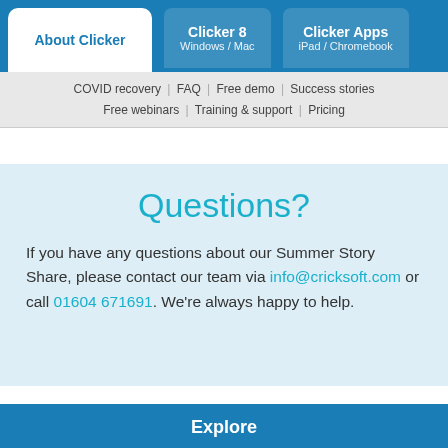About Clicker | Clicker 8 Windows / Mac | Clicker Apps iPad / Chromebook
COVID recovery | FAQ | Free demo | Success stories | Free webinars | Training & support | Pricing
Questions?
If you have any questions about our Summer Story Share, please contact our team via info@cricksoft.com or call 01604 671691. We're always happy to help.
Explore